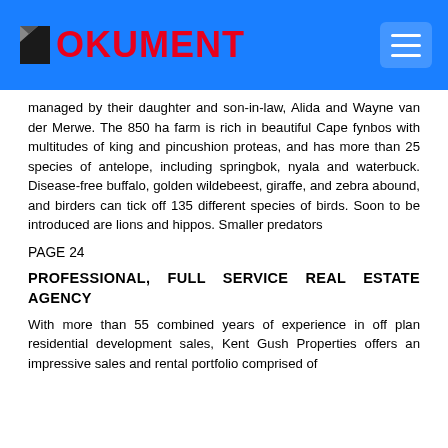DOKUMENT
managed by their daughter and son-in-law, Alida and Wayne van der Merwe. The 850 ha farm is rich in beautiful Cape fynbos with multitudes of king and pincushion proteas, and has more than 25 species of antelope, including springbok, nyala and waterbuck. Disease-free buffalo, golden wildebeest, giraffe, and zebra abound, and birders can tick off 135 different species of birds. Soon to be introduced are lions and hippos. Smaller predators
PAGE 24
PROFESSIONAL, FULL SERVICE REAL ESTATE AGENCY
With more than 55 combined years of experience in off plan residential development sales, Kent Gush Properties offers an impressive sales and rental portfolio comprised of